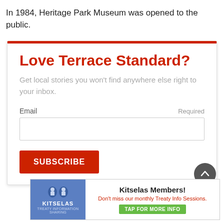In 1984, Heritage Park Museum was opened to the public.
Love Terrace Standard?
Get local stories you won't find anywhere else right to your inbox.
Email  Required
SUBSCRIBE
[Figure (screenshot): Kitselas Members! advertisement banner with blue logo section and white content section reading: Don't miss our monthly Treaty Info Sessions. TAP FOR MORE INFO]